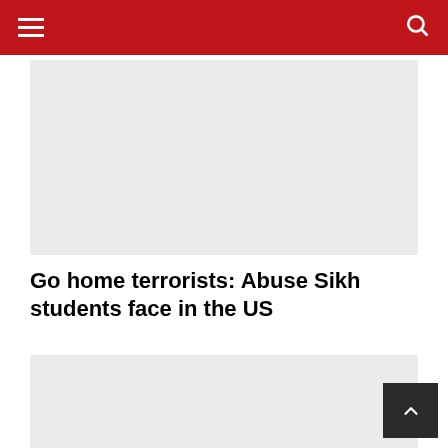Navigation bar with hamburger menu and search icon
[Figure (other): Gray placeholder image box at the top of the article]
Go home terrorists: Abuse Sikh students face in the US
[Figure (other): Gray placeholder image box below the article title]